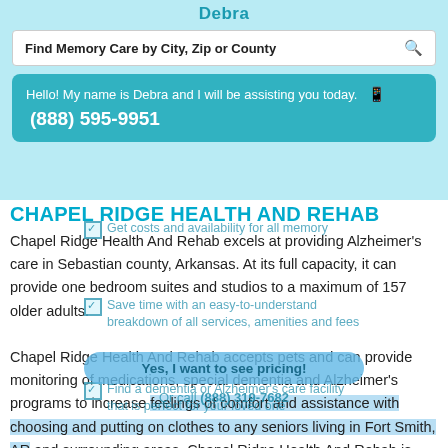Debra
Find Memory Care by City, Zip or County
Hello! My name is Debra and I will be assisting you today.  (888) 595-9951
CHAPEL RIDGE HEALTH AND REHAB
Get costs and availability for all memory
Chapel Ridge Health And Rehab excels at providing Alzheimer's care in Sebastian county, Arkansas. At its full capacity, it can provide one bedroom suites and studios to a maximum of 157 older adults.
Save time with an easy-to-understand breakdown of all services, amenities and fees
Chapel Ridge Health And Rehab accepts pets and can provide monitoring of medications, special dementia and Alzheimer's programs to increase feelings of comfort and assistance with choosing and putting on clothes to any seniors living in Fort Smith, AR and surrounding areas. Chapel Ridge Health And Rehab is located at 4623 Rogers Avenue, 72903 zip code and may accept Medicaid
Find a dementia or Alzheimer's care facility that is perfect for your loved one
Yes, I want to see pricing!
Or call (888) 319-7682